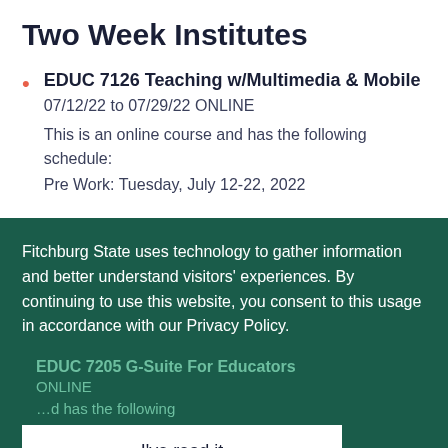Two Week Institutes
EDUC 7126 Teaching w/Multimedia & Mobile
07/12/22 to 07/29/22 ONLINE
This is an online course and has the following schedule:
Pre Work: Tuesday, July 12-22, 2022
Fitchburg State uses technology to gather information and better understand visitors' experiences. By continuing to use this website, you consent to this usage in accordance with our Privacy Policy.
EDUC 7205 G-Suite For Educators
I've read it
More information
Pre Work: Tuesday July 12-22, 2022